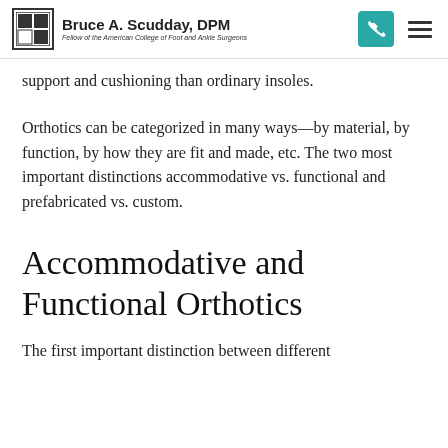Bruce A. Scudday, DPM — Fellow of the American College of Foot and Ankle Surgeons
support and cushioning than ordinary insoles.
Orthotics can be categorized in many ways—by material, by function, by how they are fit and made, etc. The two most important distinctions accommodative vs. functional and prefabricated vs. custom.
Accommodative and Functional Orthotics
The first important distinction between different